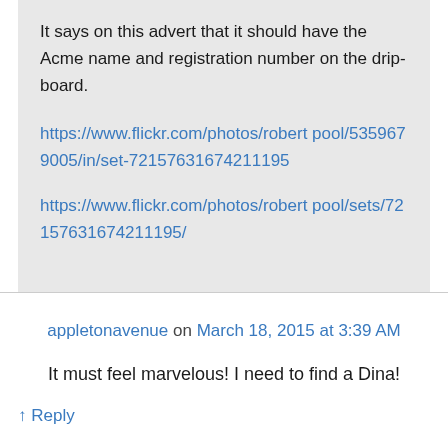It says on this advert that it should have the Acme name and registration number on the drip-board.
https://www.flickr.com/photos/robertpool/5359679005/in/set-72157631674211195
https://www.flickr.com/photos/robertpool/sets/72157631674211195/
appletonavenue on March 18, 2015 at 3:39 AM
It must feel marvelous! I need to find a Dina!
↑ Reply